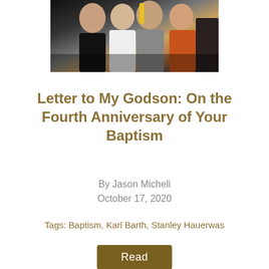[Figure (photo): Group photo of several people at an event, partially cropped showing faces and upper bodies; people wearing dark jacket, white blouse, grey suit, orange cardigan]
Letter to My Godson: On the Fourth Anniversary of Your Baptism
By Jason Micheli
October 17, 2020
Tags: Baptism, Karl Barth, Stanley Hauerwas
Read